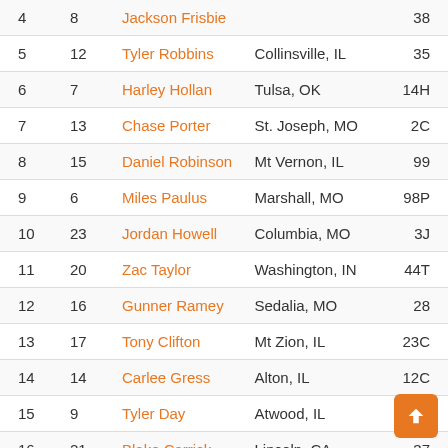| Pos | # | Name | Hometown | Car |
| --- | --- | --- | --- | --- |
| 4 | 8 | Jackson Frisbie |  | 38 |
| 5 | 12 | Tyler Robbins | Collinsville, IL | 35 |
| 6 | 7 | Harley Hollan | Tulsa, OK | 14H |
| 7 | 13 | Chase Porter | St. Joseph, MO | 2C |
| 8 | 15 | Daniel Robinson | Mt Vernon, IL | 99 |
| 9 | 6 | Miles Paulus | Marshall, MO | 98P |
| 10 | 23 | Jordan Howell | Columbia, MO | 3J |
| 11 | 20 | Zac Taylor | Washington, IN | 44T |
| 12 | 16 | Gunner Ramey | Sedalia, MO | 28 |
| 13 | 17 | Tony Clifton | Mt Zion, IL | 23C |
| 14 | 14 | Carlee Gress | Alton, IL | 12C |
| 15 | 9 | Tyler Day | Atwood, IL | 84 |
| 16 | 21 | Blake Carrick | Lincoln, CA | 37 |
| 17 | 19 | Trevin Littleton |  | 44 |